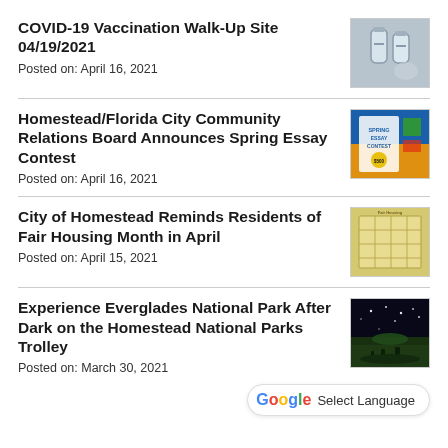COVID-19 Vaccination Walk-Up Site 04/19/2021
Posted on: April 16, 2021
[Figure (photo): COVID-19 vaccine vials]
Homestead/Florida City Community Relations Board Announces Spring Essay Contest
Posted on: April 16, 2021
[Figure (photo): Spring Essay Contest flyer with blue and yellow design]
City of Homestead Reminds Residents of Fair Housing Month in April
Posted on: April 15, 2021
[Figure (photo): Fair Housing Month calendar or flyer]
Experience Everglades National Park After Dark on the Homestead National Parks Trolley
Posted on: March 30, 2021
[Figure (photo): Everglades National Park at night with starry sky]